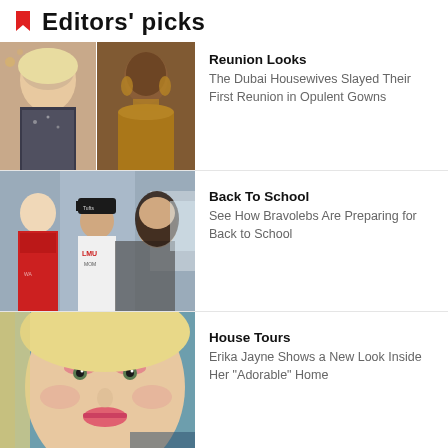Editors' picks
[Figure (photo): Two women in glamorous outfits — one blonde in a sparkly top, one in a gold strapless gown with elaborate earrings]
Reunion Looks
The Dubai Housewives Slayed Their First Reunion in Opulent Gowns
[Figure (photo): Three people posing together — a tall young man in a red hoodie, a woman in a black Tufts cap and white sweatshirt (LMU MOM), and a young woman with dark hair]
Back To School
See How Bravolebs Are Preparing for Back to School
[Figure (photo): Close-up of a blonde woman with dramatic pink eye makeup and glam look]
House Tours
Erika Jayne Shows a New Look Inside Her "Adorable" Home